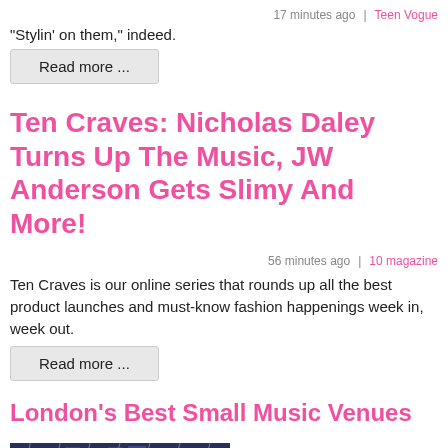17 minutes ago  |  Teen Vogue
“Stylein’ on them,” indeed.
Read more ...
Ten Craves: Nicholas Daley Turns Up The Music, JW Anderson Gets Slimy And More!
56 minutes ago  |  10 magazine
Ten Craves is our online series that rounds up all the best product launches and must-know fashion happenings week in, week out.
Read more ...
London’s Best Small Music Venues
[Figure (photo): Interior photo of a music venue with a geometric ceiling structure and blue/purple lighting]
1 hour ago  |  Flux Magazine